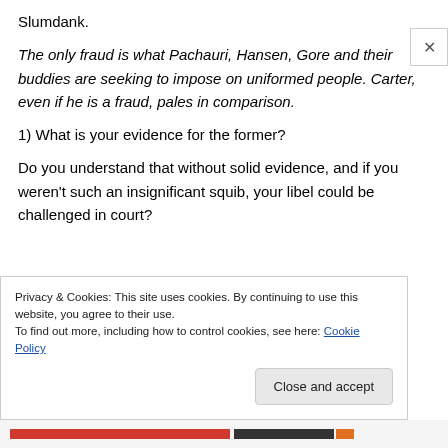Slumdank.
The only fraud is what Pachauri, Hansen, Gore and their buddies are seeking to impose on uniformed people. Carter, even if he is a fraud, pales in comparison.
1) What is your evidence for the former?
Do you understand that without solid evidence, and if you weren't such an insignificant squib, your libel could be challenged in court?
Privacy & Cookies: This site uses cookies. By continuing to use this website, you agree to their use.
To find out more, including how to control cookies, see here: Cookie Policy
Close and accept